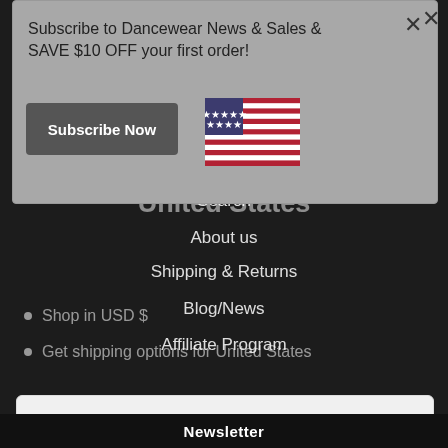[Figure (screenshot): Website screenshot showing a modal popup overlay on a dark dancewear e-commerce page. The modal has a gray background with subscribe text, a Subscribe Now button, and a US flag. Behind the modal is a dark page with navigation menu items (Search, About us, Shipping & Returns, Blog/News, Affiliate Program), a heading 'Dancewear For Sale ships to United States', bullet points about USD and shipping options, social media icons, 'Change shipping country' link, and a white 'Shop now' button. A Newsletter bar appears at the bottom.]